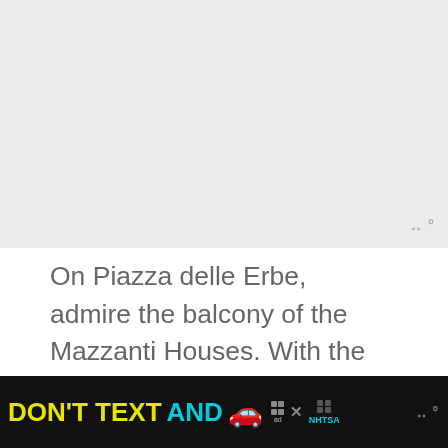[Figure (other): Light gray placeholder area at top of page, with W° wordmark visible in top right corner]
On Piazza delle Erbe, admire the balcony of the Mazzanti Houses. With the backdrop of frescoed walls, and adorned with pretty flower boxes, they make for a lovely picture.
[Figure (photo): Photograph of Mazzanti Houses in Verona showing frescoed walls, arched windows with green shutters and decorative elements, viewed from below looking up]
[Figure (other): NHTSA advertisement banner at bottom: 'DON'T TEXT AND' with car emoji, ad choices logo, NHTSA logo, and W° wordmark on black background]